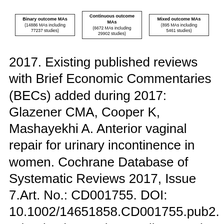[Figure (other): Three boxes showing Binary outcome MAs (14886 MAs including 77237 studies), Continuous outcome MAs (6672 MAs including 29902 studies), and Mixed outcome MAs (895 MAs including 5461 studies)]
2017. Existing published reviews with Brief Economic Commentaries (BECs) added during 2017: Glazener CMA, Cooper K, Mashayekhi A. Anterior vaginal repair for urinary incontinence in women. Cochrane Database of Systematic Reviews 2017, Issue 7.Art. No.: CD001755. DOI: 10.1002/14651858.CD001755.pub2. What is The Cochrane Library? The major product of Cochrane is the Cochrane Database of Systematic Reviews which is published monthly as part of the Cochrane Library. The Cochrane Library also contains five